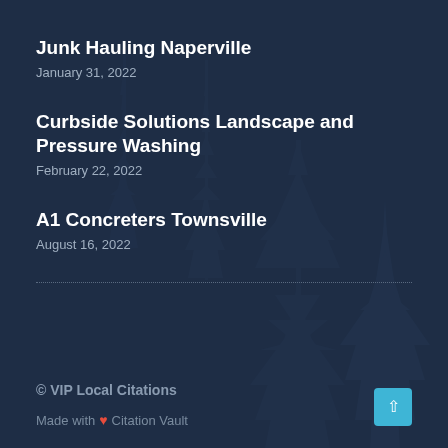Junk Hauling Naperville
January 31, 2022
Curbside Solutions Landscape and Pressure Washing
February 22, 2022
A1 Concreters Townsville
August 16, 2022
© VIP Local Citations
Made with ❤ Citation Vault